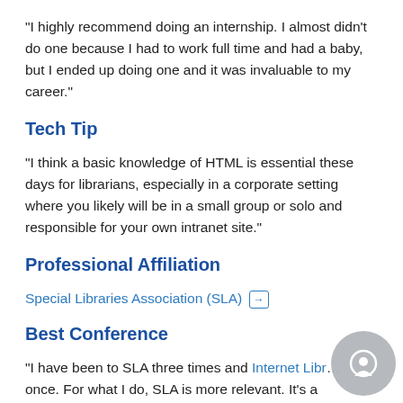“I highly recommend doing an internship. I almost didn’t do one because I had to work full time and had a baby, but I ended up doing one and it was invaluable to my career.”
Tech Tip
“I think a basic knowledge of HTML is essential these days for librarians, especially in a corporate setting where you likely will be in a small group or solo and responsible for your own intranet site.”
Professional Affiliation
Special Libraries Association (SLA) →
Best Conference
“I have been to SLA three times and Internet Libr… once. For what I do, SLA is more relevant. It’s a wonderful way to network, learn new things to apply to your work